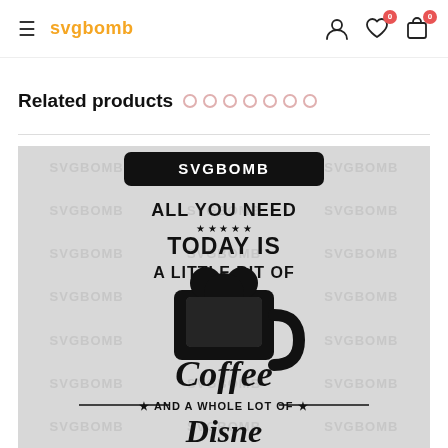svgbomb (logo) | hamburger menu | user icon | heart icon (0) | cart icon (0)
Related products
[Figure (illustration): SVGBomb product image watermarked with repeated 'SVGBOMB' text on gray concrete background. The design reads: SVGBOMB (header bar), ALL YOU NEED TODAY IS A LITTLE BIT OF Coffee AND A WHOLE LOT OF Disney (with coffee cup and Mickey Mouse ears icon)]